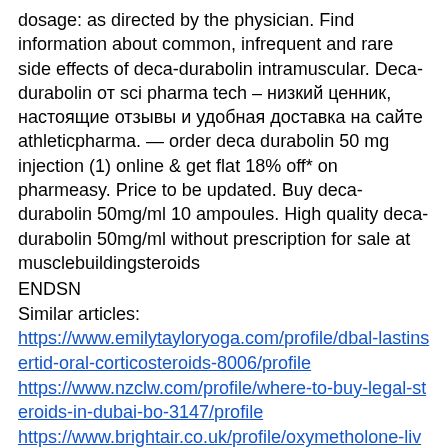dosage: as directed by the physician. Find information about common, infrequent and rare side effects of deca-durabolin intramuscular. Deca-durabolin от sci pharma tech – низкий ценник, настоящие отзывы и удобная доставка на сайте athleticpharma. — order deca durabolin 50 mg injection (1) online &amp; get flat 18% off* on pharmeasy. Price to be updated. Buy deca-durabolin 50mg/ml 10 ampoules. High quality deca-durabolin 50mg/ml without prescription for sale at musclebuildingsteroids
ENDSN
Similar articles:
https://www.emilytayloryoga.com/profile/dbal-lastinsertid-oral-corticosteroids-8006/profile
https://www.nzclw.com/profile/where-to-buy-legal-steroids-in-dubai-bo-3147/profile
https://www.brightair.co.uk/profile/oxymetholone-liver-damage-oxymetholone-3234/profile
https://www.bamboo-